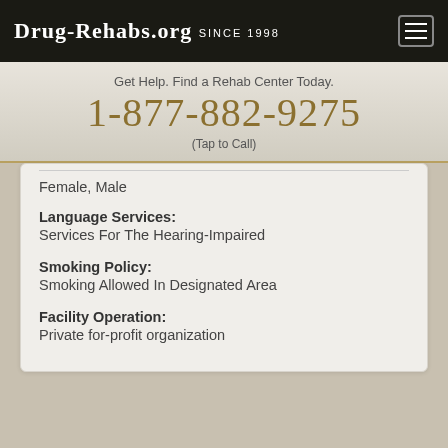Drug-Rehabs.org Since 1998
Get Help. Find a Rehab Center Today.
1-877-882-9275
(Tap to Call)
Female, Male
Language Services:
Services For The Hearing-Impaired
Smoking Policy:
Smoking Allowed In Designated Area
Facility Operation:
Private for-profit organization